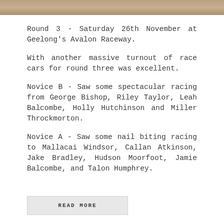[Figure (photo): Partial image of a dirt/gravel surface at the top of the page]
Round 3 - Saturday 26th November at Geelong's Avalon Raceway.
With another massive turnout of race cars for round three was excellent.
Novice B - Saw some spectacular racing from George Bishop, Riley Taylor, Leah Balcombe, Holly Hutchinson and Miller Throckmorton.
Novice A - Saw some nail biting racing to Mallacai Windsor, Callan Atkinson, Jake Bradley, Hudson Moorfoot, Jamie Balcombe, and Talon Humphrey.
READ MORE